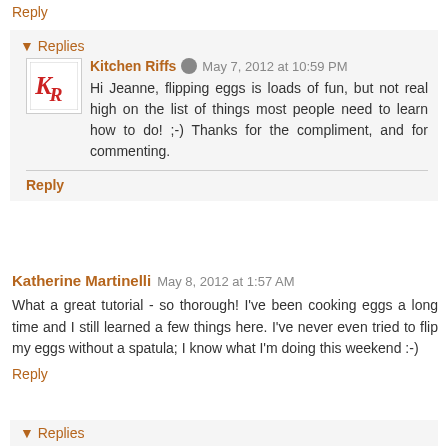Reply
▾ Replies
Kitchen Riffs
May 7, 2012 at 10:59 PM
Hi Jeanne, flipping eggs is loads of fun, but not real high on the list of things most people need to learn how to do! ;-) Thanks for the compliment, and for commenting.
Reply
Katherine Martinelli
May 8, 2012 at 1:57 AM
What a great tutorial - so thorough! I've been cooking eggs a long time and I still learned a few things here. I've never even tried to flip my eggs without a spatula; I know what I'm doing this weekend :-)
Reply
▾ Replies